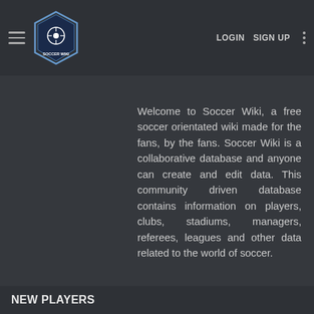Soccer Wiki — LOGIN  SIGN UP
Welcome to Soccer Wiki, a free soccer orientated wiki made for the fans, by the fans. Soccer Wiki is a collaborative database and anyone can create and edit data. This community driven database contains information on players, clubs, stadiums, managers, referees, leagues and other data related to the world of soccer.
This website uses cookies. View our cookie policy.  Learn More
Okay
NEW PLAYERS